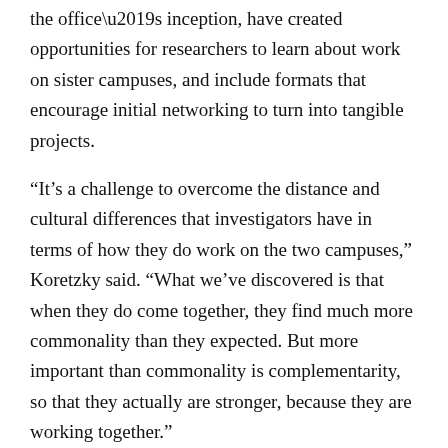the office's inception, have created opportunities for researchers to learn about work on sister campuses, and include formats that encourage initial networking to turn into tangible projects.
“It’s a challenge to overcome the distance and cultural differences that investigators have in terms of how they do work on the two campuses,” Koretzky said. “What we’ve discovered is that when they do come together, they find much more commonality than they expected. But more important than commonality is complementarity, so that they actually are stronger, because they are working together.”
Retroviruses, HIV, Epstein Barr Virus and B cell lymphoma, $6 million, five-year grant from the